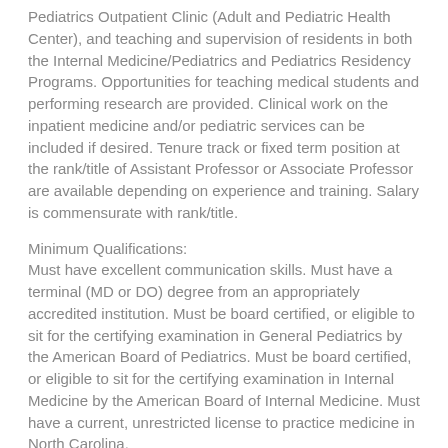Pediatrics Outpatient Clinic (Adult and Pediatric Health Center), and teaching and supervision of residents in both the Internal Medicine/Pediatrics and Pediatrics Residency Programs. Opportunities for teaching medical students and performing research are provided. Clinical work on the inpatient medicine and/or pediatric services can be included if desired. Tenure track or fixed term position at the rank/title of Assistant Professor or Associate Professor are available depending on experience and training. Salary is commensurate with rank/title.
Minimum Qualifications:
Must have excellent communication skills. Must have a terminal (MD or DO) degree from an appropriately accredited institution. Must be board certified, or eligible to sit for the certifying examination in General Pediatrics by the American Board of Pediatrics. Must be board certified, or eligible to sit for the certifying examination in Internal Medicine by the American Board of Internal Medicine. Must have a current, unrestricted license to practice medicine in North Carolina.
East Carolina University requires applicants to submit a candidate profile online in order to be considered for the position. Please go to https://ecu.peopleadmin.com, identify this position in the